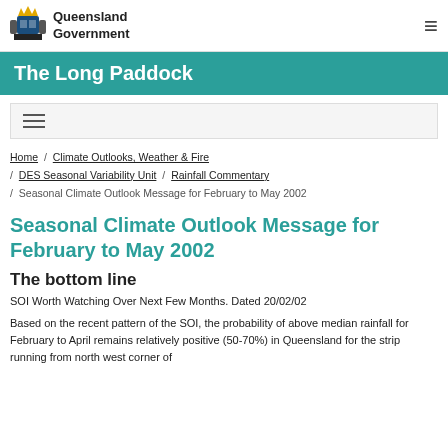Queensland Government
The Long Paddock
Home / Climate Outlooks, Weather & Fire / DES Seasonal Variability Unit / Rainfall Commentary / Seasonal Climate Outlook Message for February to May 2002
Seasonal Climate Outlook Message for February to May 2002
The bottom line
SOI Worth Watching Over Next Few Months. Dated 20/02/02
Based on the recent pattern of the SOI, the probability of above median rainfall for February to April remains relatively positive (50-70%) in Queensland for the strip running from north west corner of